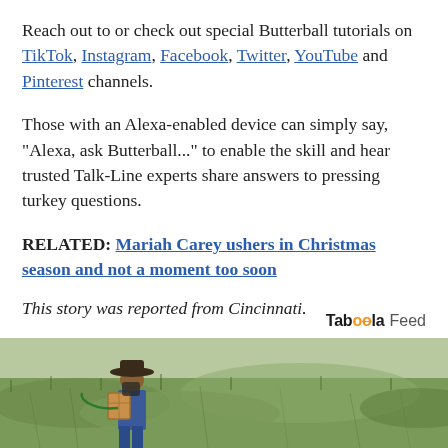Reach out to or check out special Butterball tutorials on TikTok, Instagram, Facebook, Twitter, YouTube and Pinterest channels.
Those with an Alexa-enabled device can simply say, "Alexa, ask Butterball..." to enable the skill and hear trusted Talk-Line experts share answers to pressing turkey questions.
RELATED: Mariah Carey ushers in Christmas season and not a moment too soon
This story was reported from Cincinnati.
Taboola Feed
[Figure (photo): A person wearing a wide-brimmed hat and carrying a large box or sprayer on their back, standing in a green grassy field.]